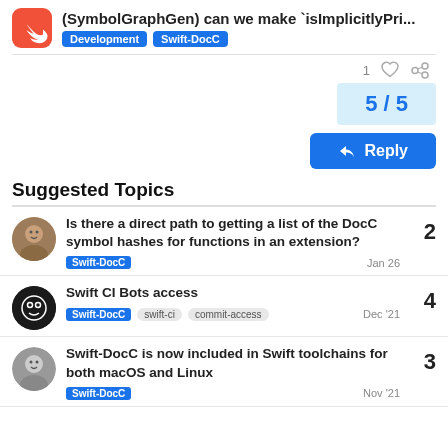(SymbolGraphGen) can we make `isImplicitlyPri... — Development — Swift-DocC
1 ♡ 🔗
5 / 5
↩ Reply
Suggested Topics
Is there a direct path to getting a list of the DocC symbol hashes for functions in an extension?
Swift-DocC   Jan 26
Replies: 2
Swift CI Bots access
Swift-DocC   swift-ci   commit-access   Dec '21
Replies: 4
Swift-DocC is now included in Swift toolchains for both macOS and Linux
Swift-DocC   Nov '21
Replies: 3